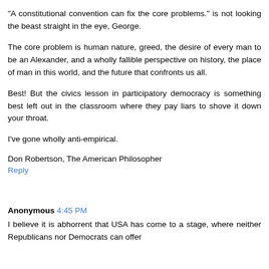"A constitutional convention can fix the core problems." is not looking the beast straight in the eye, George.
The core problem is human nature, greed, the desire of every man to be an Alexander, and a wholly fallible perspective on history, the place of man in this world, and the future that confronts us all.
Best! But the civics lesson in participatory democracy is something best left out in the classroom where they pay liars to shove it down your throat.
I've gone wholly anti-empirical.
Don Robertson, The American Philosopher
Reply
Anonymous 4:45 PM
I believe it is abhorrent that USA has come to a stage, where neither Republicans nor Democrats can offer